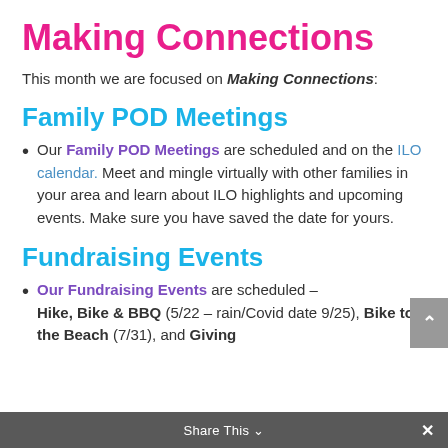Making Connections
This month we are focused on Making Connections:
Family POD Meetings
Our Family POD Meetings are scheduled and on the ILO calendar. Meet and mingle virtually with other families in your area and learn about ILO highlights and upcoming events. Make sure you have saved the date for yours.
Fundraising Events
Our Fundraising Events are scheduled – Hike, Bike & BBQ (5/22 – rain/Covid date 9/25), Bike to the Beach (7/31), and Giving
Share This